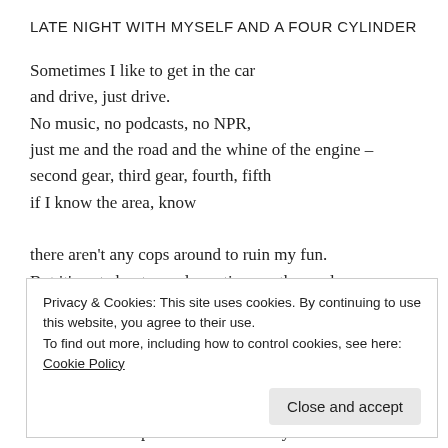LATE NIGHT WITH MYSELF AND A FOUR CYLINDER
Sometimes I like to get in the car
and drive, just drive.
No music, no podcasts, no NPR,
just me and the road and the whine of the engine –
second gear, third gear, fourth, fifth
if I know the area, know

there aren't any cops around to ruin my fun.
But it's not about speed, my time on the road;
it's not about an end goal or how fast I get there.
Or maybe it is: maybe the end goal is peace
of mind and the movement of the car –
Privacy & Cookies: This site uses cookies. By continuing to use this website, you agree to their use.
To find out more, including how to control cookies, see here: Cookie Policy
or because it helps me think. Probably